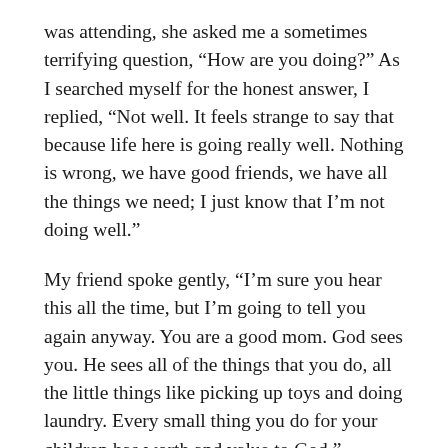was attending, she asked me a sometimes terrifying question, “How are you doing?” As I searched myself for the honest answer, I replied, “Not well. It feels strange to say that because life here is going really well. Nothing is wrong, we have good friends, we have all the things we need; I just know that I’m not doing well.”
My friend spoke gently, “I’m sure you hear this all the time, but I’m going to tell you again anyway. You are a good mom. God sees you. He sees all of the things that you do, all the little things like picking up toys and doing laundry. Every small thing you do for your children has worth and value to God.”
My sudden outpouring of tears caught me by surprise, and I realized that I had just heard words